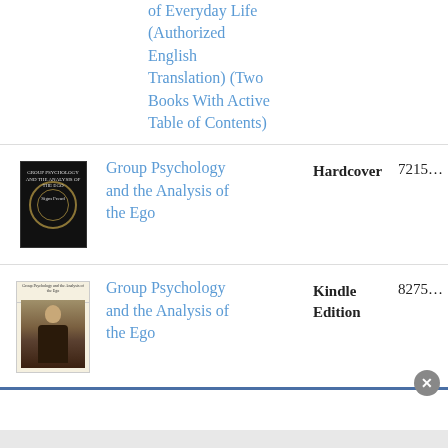|  | Title | Format | ID |
| --- | --- | --- | --- |
|  | of Everyday Life (Authorized English Translation) (Two Books With Active Table of Contents) |  |  |
| [book cover] | Group Psychology and the Analysis of the Ego | Hardcover | 7215… |
| [book cover] | Group Psychology and the Analysis of the Ego | Kindle Edition | 8275… |